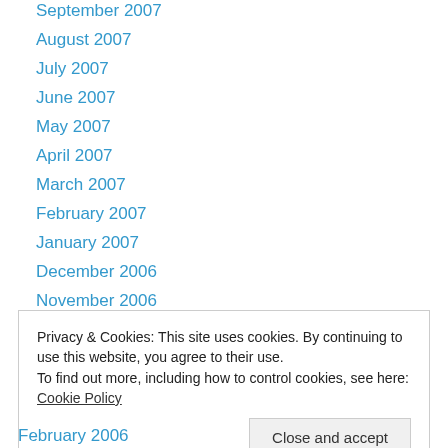September 2007
August 2007
July 2007
June 2007
May 2007
April 2007
March 2007
February 2007
January 2007
December 2006
November 2006
October 2006
September 2006
Privacy & Cookies: This site uses cookies. By continuing to use this website, you agree to their use. To find out more, including how to control cookies, see here: Cookie Policy
February 2006